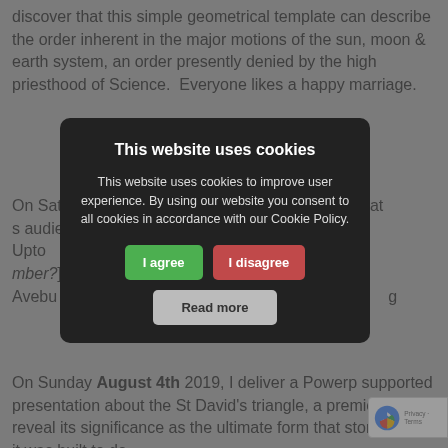discover that this simple geometrical template can describe the order inherent in the major motions of the sun, moon & earth system, an order presently denied by the high priesthood of Science.  Everyone likes a happy marriage.
TH…S
On Saturday… delivered his talk at … his audience t… ear Wood near Upto… ter with 153 wove… mber?]. Later tha… nge Shop at Avebu… f the formation… g … y,
[Figure (screenshot): Cookie consent modal dialog with dark background. Title: 'This website uses cookies'. Body text: 'This website uses cookies to improve user experience. By using our website you consent to all cookies in accordance with our Cookie Policy.' Three buttons: 'I agree' (green), 'I disagree' (red/pink), 'Read more' (gray).]
On Sunday August 4th 2019, I deliver a Powerpoint supported presentation about the St David's triangle, a premiere, and reveal its significance as the ultimate form that stores what it was built to do